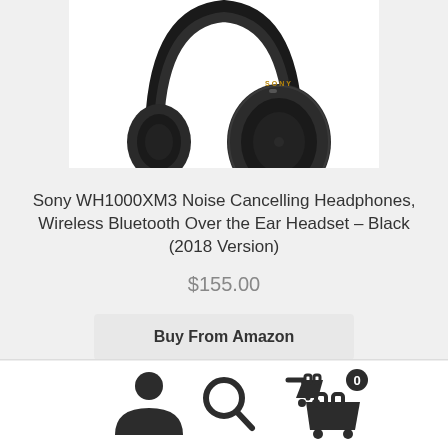[Figure (photo): Sony WH1000XM3 wireless over-ear headphones in black, shown from the side against a white background]
Sony WH1000XM3 Noise Cancelling Headphones, Wireless Bluetooth Over the Ear Headset – Black (2018 Version)
$155.00
Buy From Amazon